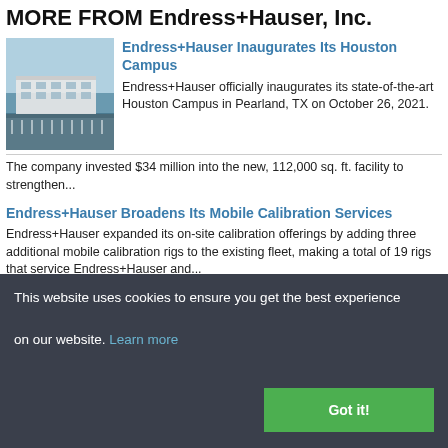MORE FROM Endress+Hauser, Inc.
[Figure (photo): Aerial photo of Endress+Hauser Houston Campus building with parking lot]
Endress+Hauser Inaugurates Its Houston Campus
Endress+Hauser officially inaugurates its state-of-the-art Houston Campus in Pearland, TX on October 26, 2021. The company invested $34 million into the new, 112,000 sq. ft. facility to strengthen...
Endress+Hauser Broadens Its Mobile Calibration Services
Endress+Hauser expanded its on-site calibration offerings by adding three additional mobile calibration rigs to the existing fleet, making a total of 19 rigs that service Endress+Hauser and...
This website uses cookies to ensure you get the best experience on our website. Learn more
Got it!